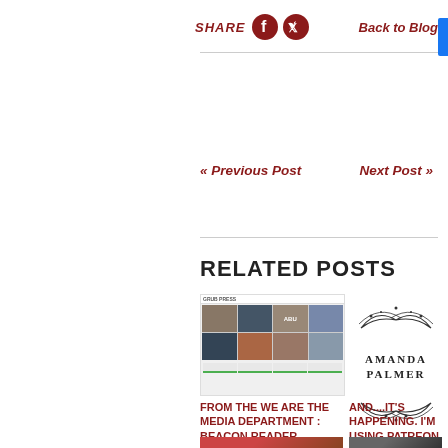SHARE  Back to Blog
« Previous Post
Next Post »
RELATED POSTS
[Figure (screenshot): Screenshot of a blog/media page showing a grid of thumbnail images with text, labeled 'GRUB PRESS' or similar at top]
[Figure (logo): Amanda Palmer logo with decorative wing/sword design above and below the text 'AMANDA PALMER']
FROM THE WE ARE THE MEDIA DEPARTMENT : BEACON READER.
AND....IT'S HAPPENING. I'M USING PATREON. PLEASE SUPPORT ME IF YOU
[Figure (photo): Photo of a person performing, reddish tones, bottom of page]
[Figure (photo): Photo of a person, dark tones, bottom of page]